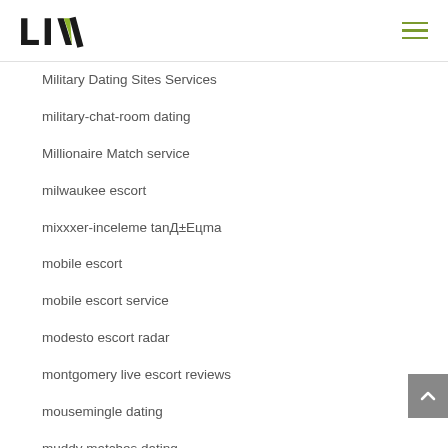LIV
Military Dating Sites Services
military-chat-room dating
Millionaire Match service
milwaukee escort
mixxxer-inceleme tanД±Eцma
mobile escort
mobile escort service
modesto escort radar
montgomery live escort reviews
mousemingle dating
muddy matches dating
muddy-matches-overzicht Dating
mundurowo-randki randki